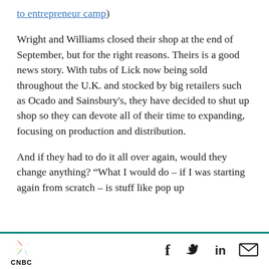to entrepreneur camp)
Wright and Williams closed their shop at the end of September, but for the right reasons. Theirs is a good news story. With tubs of Lick now being sold throughout the U.K. and stocked by big retailers such as Ocado and Sainsbury's, they have decided to shut up shop so they can devote all of their time to expanding, focusing on production and distribution.
And if they had to do it all over again, would they change anything? “What I would do – if I was starting again from scratch – is stuff like pop up
CNBC